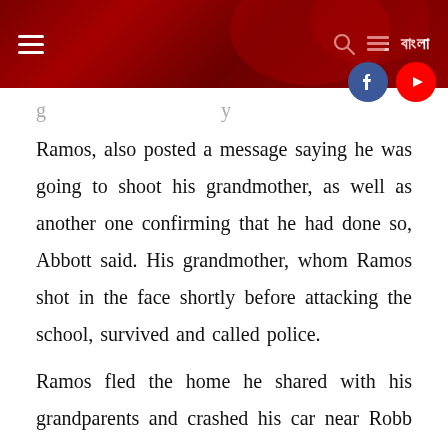≡  বাংলা
Ramos, also posted a message saying he was going to shoot his grandmother, as well as another one confirming that he had done so, Abbott said. His grandmother, whom Ramos shot in the face shortly before attacking the school, survived and called police.
Ramos fled the home he shared with his grandparents and crashed his car near Robb Elementary School in Uvalde, Texas. He entered the school through a backdoor carrying an assault-style rifle and wearing